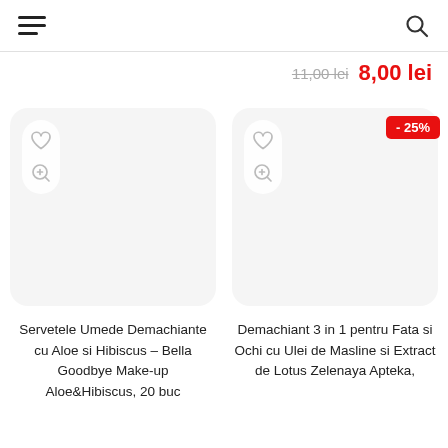[Figure (screenshot): Navigation bar with hamburger menu on the left and search icon on the right]
11,00 lei  8,00 lei
[Figure (screenshot): Product card for Servetele Umede Demachiante cu Aloe si Hibiscus – Bella Goodbye Make-up Aloe&Hibiscus, 20 buc, with heart and zoom icons]
[Figure (screenshot): Product card for Demachiant 3 in 1 pentru Fata si Ochi cu Ulei de Masline si Extract de Lotus Zelenaya Apteka, with -25% discount badge, heart and zoom icons]
Servetele Umede Demachiante cu Aloe si Hibiscus – Bella Goodbye Make-up Aloe&Hibiscus, 20 buc
Demachiant 3 in 1 pentru Fata si Ochi cu Ulei de Masline si Extract de Lotus Zelenaya Apteka,